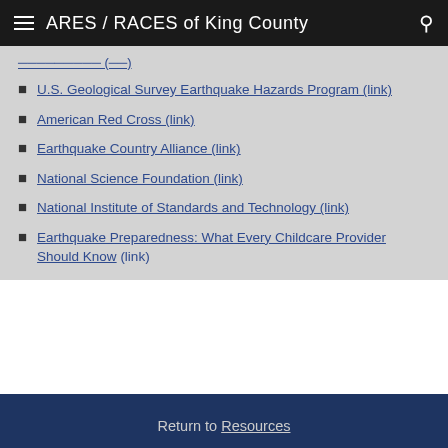ARES / RACES of King County
U.S. Geological Survey Earthquake Hazards Program (link)
American Red Cross (link)
Earthquake Country Alliance (link)
National Science Foundation (link)
National Institute of Standards and Technology (link)
Earthquake Preparedness: What Every Childcare Provider Should Know (link)
Return to Resources